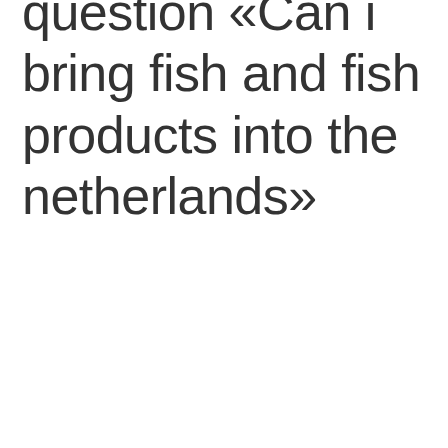question «Can i bring fish and fish products into the netherlands»